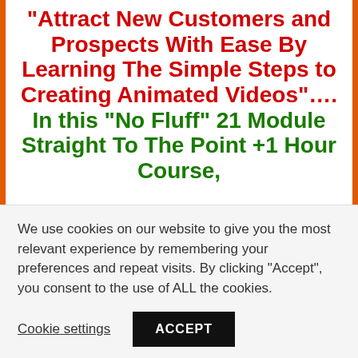“Attract New Customers and Prospects With Ease By Learning The Simple Steps to Creating Animated Videos”…. In this “No Fluff” 21 Module Straight To The Point +1 Hour Course,
We use cookies on our website to give you the most relevant experience by remembering your preferences and repeat visits. By clicking “Accept”, you consent to the use of ALL the cookies.
Cookie settings
ACCEPT